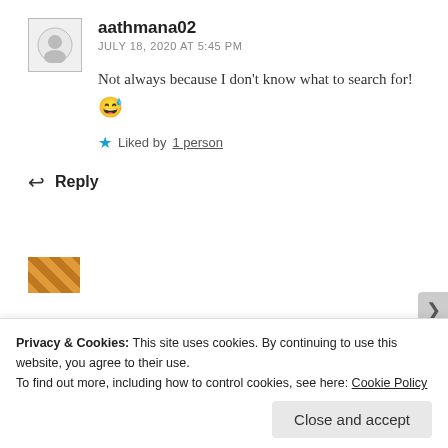aathmana02
JULY 18, 2020 AT 5:45 PM
Not always because I don't know what to search for! 😅
Liked by 1 person
Reply
Privacy & Cookies: This site uses cookies. By continuing to use this website, you agree to their use.
To find out more, including how to control cookies, see here: Cookie Policy
Close and accept